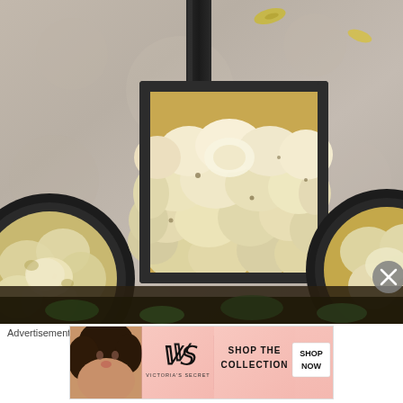[Figure (photo): Overhead view of three cast iron skillets/pans on a concrete surface, each containing sliced potatoes or a similar baked potato dish. The center pan is square with a long handle pointing upward, filled with overlapping sliced potatoes baked golden-brown. Left is a round cast iron pan partially visible. Right is another round pan partially cropped. Autumn yellow leaves scattered on the concrete.]
Advertisements
[Figure (photo): Victoria's Secret advertisement banner. Pink gradient background with a model with curly hair on the left, the Victoria's Secret VS logo in the center, and text 'SHOP THE COLLECTION' with a white 'SHOP NOW' button on the right.]